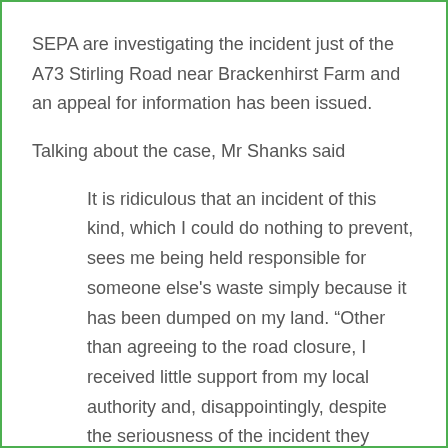SEPA are investigating the incident just of the A73 Stirling Road near Brackenhirst Farm and an appeal for information has been issued.
Talking about the case, Mr Shanks said
It is ridiculous that an incident of this kind, which I could do nothing to prevent, sees me being held responsible for someone else's waste simply because it has been dumped on my land. “Other than agreeing to the road closure, I received little support from my local authority and, disappointingly, despite the seriousness of the incident they failed to